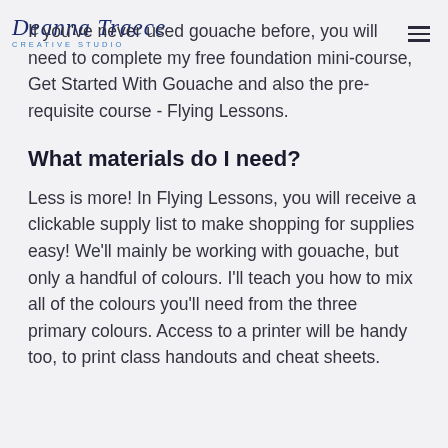Deanna Traece Creative Studio
If you've never used gouache before, you will need to complete my free foundation mini-course, Get Started With Gouache and also the pre-requisite course - Flying Lessons.
What materials do I need?
Less is more! In Flying Lessons, you will receive a clickable supply list to make shopping for supplies easy! We'll mainly be working with gouache, but only a handful of colours. I'll teach you how to mix all of the colours you'll need from the three primary colours. Access to a printer will be handy too, to print class handouts and cheat sheets.